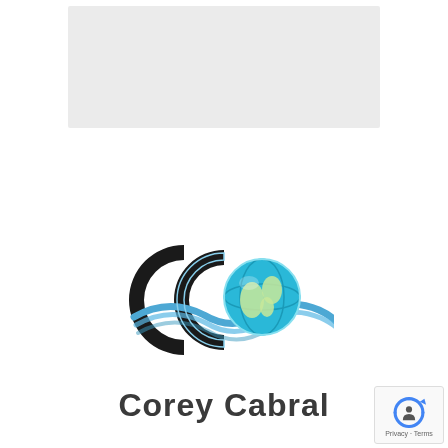[Figure (logo): Gray placeholder box at the top of the page]
[Figure (logo): Corey Cabral logo on light blue background featuring two interlocking C letters in black with wave ribbons in blue and a 3D globe in the center, with the text 'Corey Cabral' below in dark gray bold sans-serif font]